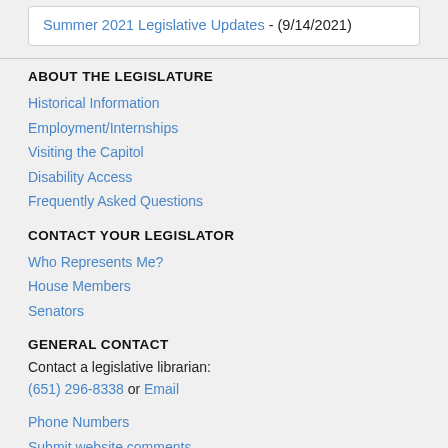Summer 2021 Legislative Updates - (9/14/2021)
ABOUT THE LEGISLATURE
Historical Information
Employment/Internships
Visiting the Capitol
Disability Access
Frequently Asked Questions
CONTACT YOUR LEGISLATOR
Who Represents Me?
House Members
Senators
GENERAL CONTACT
Contact a legislative librarian:
(651) 296-8338 or Email
Phone Numbers
Submit website comments
GET CONNECTED